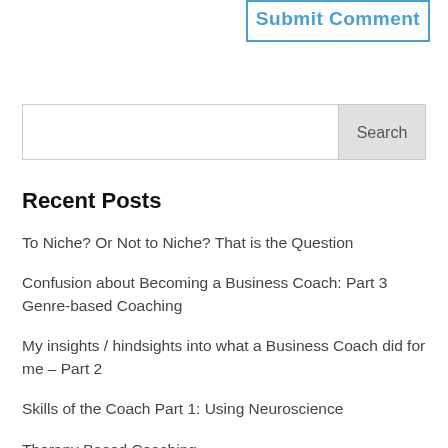[Figure (screenshot): Submit Comment button with blue border and blue text]
[Figure (screenshot): Search input box with Search button]
Recent Posts
To Niche? Or Not to Niche? That is the Question
Confusion about Becoming a Business Coach: Part 3 Genre-based Coaching
My insights / hindsights into what a Business Coach did for me – Part 2
Skills of the Coach Part 1: Using Neuroscience
Therapy Based Coaching